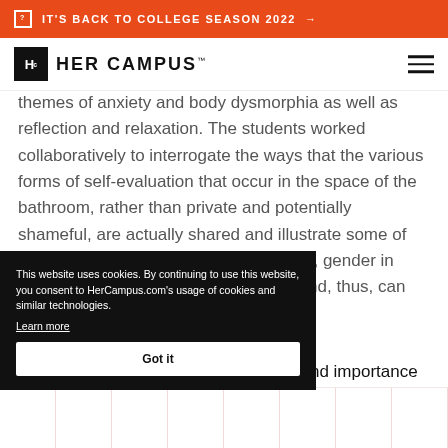IT'S BACK TO COLLEGE SEASON 2022 →
[Figure (logo): Her Campus logo with Hc icon and text HER CAMPUS]
themes of anxiety and body dysmorphia as well as reflection and relaxation. The students worked collaboratively to interrogate the ways that the various forms of self-evaluation that occur in the space of the bathroom, rather than private and potentially shameful, are actually shared and illustrate some of the socio-cultural norms around identity, gender in particular, that are collectively forged and, thus, can and should be collectively confronted.
...ance and importance the ...had to write a short essay of ...er.
This website uses cookies. By continuing to use this website, you consent to HerCampus.com's usage of cookies and similar technologies.
Learn more
Got it